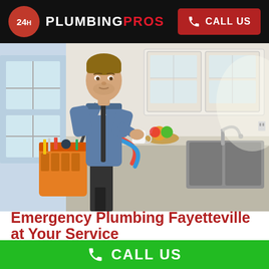24H PLUMBING PROS — CALL US
[Figure (photo): A plumber carrying an orange tool bag and colorful hoses standing in a modern kitchen with stainless steel sink and white cabinets]
Emergency Plumbing Fayetteville at Your Service
CALL US